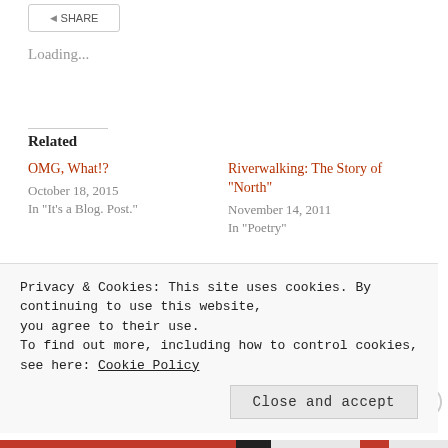[Figure (screenshot): Share button at top left]
Loading...
Related
OMG, What!?
October 18, 2015
In "It's a Blog. Post."
Riverwalking: The Story of “North”
November 14, 2011
In "Poetry"
“What Work Is”
October 31, 2010
In "Poetry"
Privacy & Cookies: This site uses cookies. By continuing to use this website, you agree to their use.
To find out more, including how to control cookies, see here: Cookie Policy
Close and accept